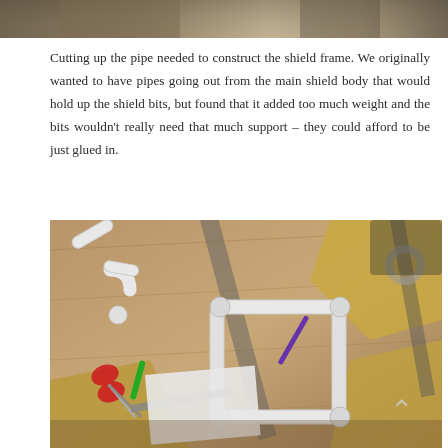[Figure (photo): Partial view of a person's torso/clothing at the top of the page]
Cutting up the pipe needed to construct the shield frame. We originally wanted to have pipes going out from the main shield body that would hold up the shield bits, but found that it added too much weight and the bits wouldn't really need that much support – they could afford to be just glued in.
[Figure (photo): A workbench/floor scene showing white PVC pipe fittings assembled into a rectangular frame, surrounded by scissors, tape, cardboard, and other craft materials]